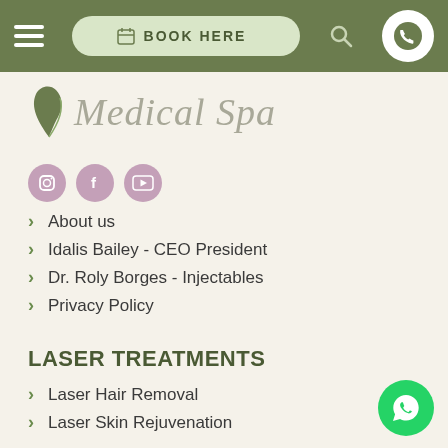BOOK HERE
[Figure (logo): Medical Spa logo with leaf graphic and cursive text]
[Figure (infographic): Social media icons: Instagram, Facebook, YouTube in pink circles]
About us
Idalis Bailey - CEO President
Dr. Roly Borges - Injectables
Privacy Policy
LASER TREATMENTS
Laser Hair Removal
Laser Skin Rejuvenation